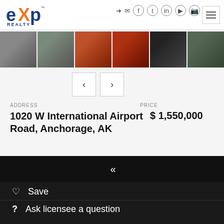[Figure (logo): eXp Realty logo with blue and orange lettering]
[Figure (photo): Strip of 6 property thumbnail photos showing exterior and interior shots]
ADDRESS
1020 W International Airport Road, Anchorage, AK
PRICE
$ 1,550,000
Save
Ask licensee a question